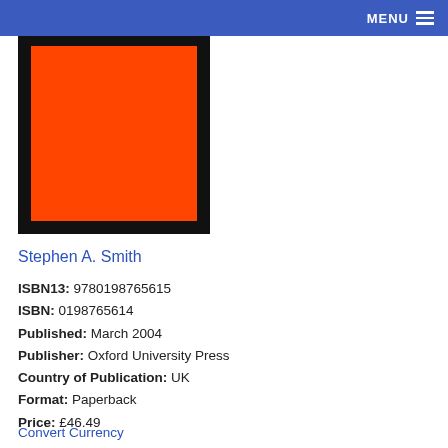MENU
[Figure (illustration): Book cover showing an orange rectangle on a black background]
Stephen A. Smith
ISBN13: 9780198765615
ISBN: 0198765614
Published: March 2004
Publisher: Oxford University Press
Country of Publication: UK
Format: Paperback
Price: £46.49
Convert Currency